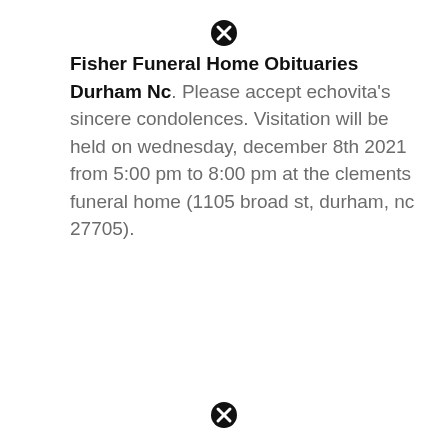Fisher Funeral Home Obituaries Durham Nc. Please accept echovita's sincere condolences. Visitation will be held on wednesday, december 8th 2021 from 5:00 pm to 8:00 pm at the clements funeral home (1105 broad st, durham, nc 27705).